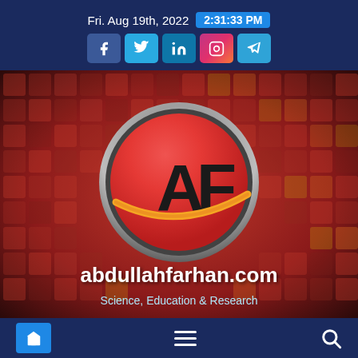Fri. Aug 19th, 2022  2:31:33 PM
[Figure (logo): AF logo circle with social media icons (Facebook, Twitter, LinkedIn, Instagram, Telegram) above it on a dark navy header bar]
[Figure (logo): abdullahfarhan.com website logo — circular AF emblem on red mosaic background with site name and tagline]
abdullahfarhan.com
Science, Education & Research
Home | Menu | Search